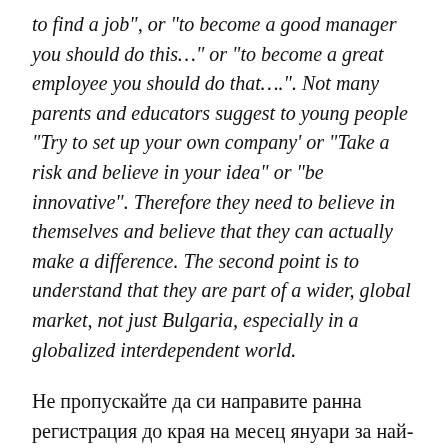to find a job", or "to become a good manager you should do this…" or "to become a great employee you should do that….". Not many parents and educators suggest to young people "Try to set up your own company' or "Take a risk and believe in your idea" or "be innovative". Therefore they need to believe in themselves and believe that they can actually make a difference. The second point is to understand that they are part of a wider, global market, not just Bulgaria, especially in a globalized interdependent world.
Не пропускайте да си направите ранна регистрация до края на месец януари за най-голямото събитие за иновации, което ще се проведе в България, на 23.02.2017